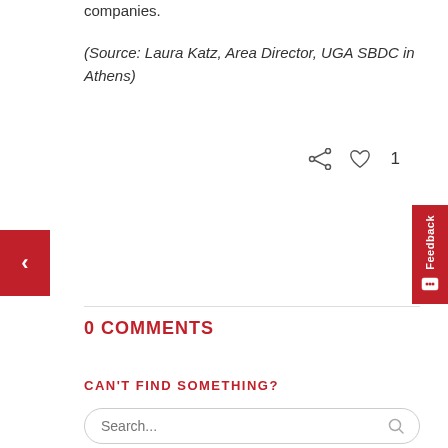companies.
(Source: Laura Katz, Area Director, UGA SBDC in Athens)
0 COMMENTS
CAN'T FIND SOMETHING?